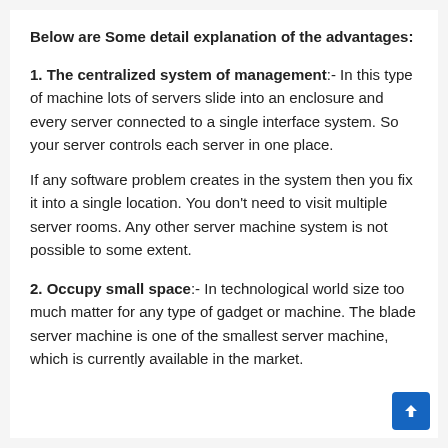Below are Some detail explanation of the advantages:
1. The centralized system of management:- In this type of machine lots of servers slide into an enclosure and every server connected to a single interface system. So your server controls each server in one place.

If any software problem creates in the system then you fix it into a single location. You don't need to visit multiple server rooms. Any other server machine system is not possible to some extent.
2. Occupy small space:- In technological world size too much matter for any type of gadget or machine. The blade server machine is one of the smallest server machine, which is currently available in the market.